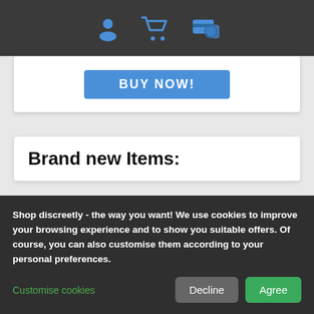[Figure (screenshot): Top navigation bar with user account icon, shopping cart icon, and payment/credit card icon in blue on dark grey background]
[Figure (screenshot): Partial BUY NOW blue button at bottom of a product card]
Brand new Items:
Modus Vivendi - Brand Brazil Cut Boxer - Blue
[Figure (photo): Product photo of blue Modus Vivendi Brazil Cut Boxer underwear being worn]
KING
[Figure (photo): Product photo of a purple and yellow KING brand bottle/container with crown graphics]
Shop discreetly - the way you want! We use cookies to improve your browsing experience and to show you suitable offers. Of course, you can also customise them according to your personal preferences.
Customise cookies
Decline
Agree